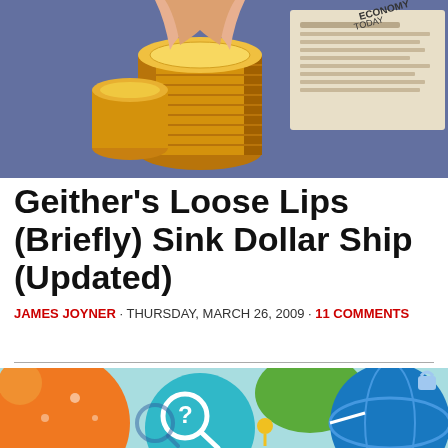[Figure (photo): Close-up of a hand holding a stack of gold/bronze coins over a financial newspaper or document with text visible in the background]
Geither's Loose Lips (Briefly) Sink Dollar Ship (Updated)
JAMES JOYNER · THURSDAY, MARCH 26, 2009 · 11 COMMENTS
[Figure (illustration): Colorful abstract illustration with circles, magnifying glasses, question marks, globes, location pins, and arrows in orange, teal, blue, green, and yellow tones — representing global financial or information concepts]